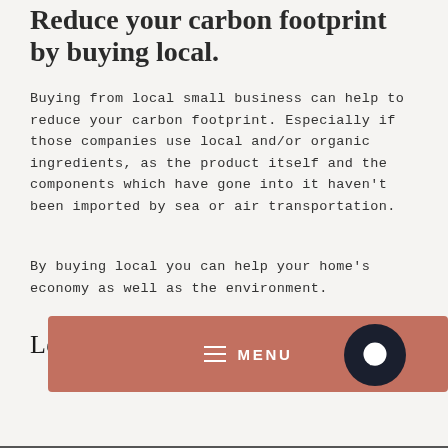Reduce your carbon footprint by buying local.
Buying from local small business can help to reduce your carbon footprint. Especially if those companies use local and/or organic ingredients, as the product itself and the components which have gone into it haven't been imported by sea or air transportation.
By buying local you can help your home's economy as well as the environment.
Leave a comment
[Figure (other): Navigation menu bar with dusty rose/terracotta background showing hamburger menu icon, MENU text, and a dark circular chat button on the right]